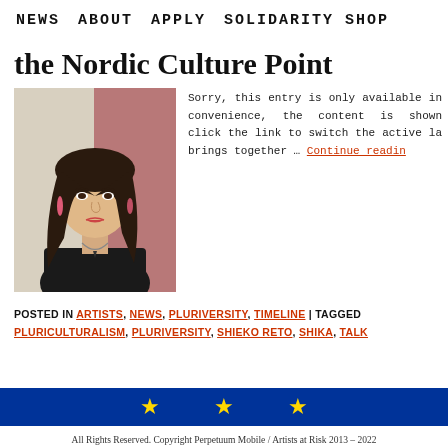NEWS   ABOUT   APPLY   SOLIDARITY SHOP
the Nordic Culture Point
[Figure (photo): Portrait photo of a young woman with long dark hair, wearing a black top and pink earrings, with a necklace, against a colorful background.]
Sorry, this entry is only available in convenience, the content is shown click the link to switch the active la brings together … Continue reading
POSTED IN ARTISTS, NEWS, PLURIVERSITY, TIMELINE | TAGGED PLURICULTURALISM, PLURIVERSITY, SHIEKO RETO, SHIKA, TALK
[Figure (illustration): EU flag banner with blue background and yellow stars]
All Rights Reserved. Copyright Perpetuum Mobile / Artists at Risk 2013 – 2022